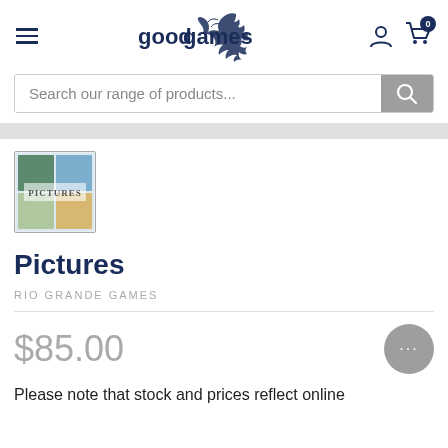goodgames
Search our range of products...
[Figure (photo): Thumbnail of the board game 'Pictures' product box showing colorful imagery and the word PICTURES]
Pictures
RIO GRANDE GAMES
$85.00
Please note that stock and prices reflect online